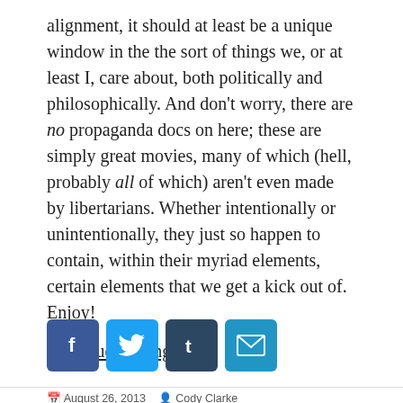alignment, it should at least be a unique window in the the sort of things we, or at least I, care about, both politically and philosophically. And don't worry, there are no propaganda docs on here; these are simply great movies, many of which (hell, probably all of which) aren't even made by libertarians. Whether intentionally or unintentionally, they just so happen to contain, within their myriad elements, certain elements that we get a kick out of. Enjoy!
Continue reading →
[Figure (other): Social sharing buttons: Facebook (blue), Twitter (light blue), Tumblr (dark blue), Email (blue envelope)]
August 26, 2013   Cody Clarke   All Posts, Cody's Lists   annie hall, ayn rand, barcelona, bicycle thieves, charlie kaufman, cody clarke, collectivism, damsels in distress, dardenne brothers, david gelb, david mamet, death wish, dick cheney,